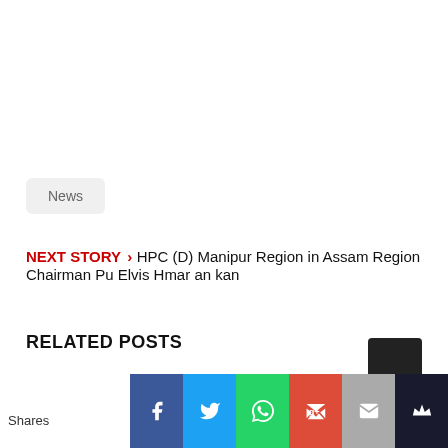News
NEXT STORY › HPC (D) Manipur Region in Assam Region Chairman Pu Elvis Hmar an kan
RELATED POSTS
Shares